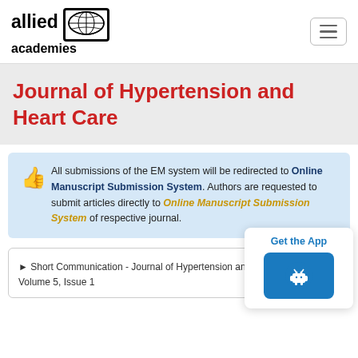[Figure (logo): Allied Academies logo with globe icon]
Journal of Hypertension and Heart Care
All submissions of the EM system will be redirected to Online Manuscript Submission System. Authors are requested to submit articles directly to Online Manuscript Submission System of respective journal.
[Figure (infographic): Get the App button with Android icon]
Short Communication - Journal of Hypertension and Heart Care (2022) Volume 5, Issue 1